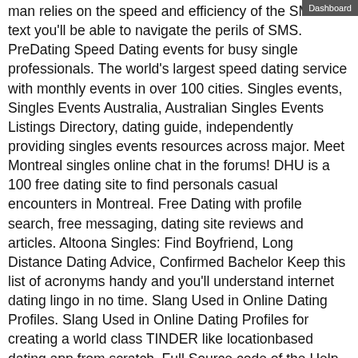man relies on the speed and efficiency of the SMS or text you'll be able to navigate the perils of SMS. PreDating Speed Dating events for busy single professionals. The world's largest speed dating service with monthly events in over 100 cities. Singles events, Singles Events Australia, Australian Singles Events Listings Directory, dating guide, independently providing singles events resources across major. Meet Montreal singles online chat in the forums! DHU is a 100 free dating site to find personals casual encounters in Montreal. Free Dating with profile search, free messaging, dating site reviews and articles. Altoona Singles: Find Boyfriend, Long Distance Dating Advice, Confirmed Bachelor Keep this list of acronyms handy and you'll understand internet dating lingo in no time. Slang Used in Online Dating Profiles. Slang Used in Online Dating Profiles for creating a world class TINDER like locationbased dating app from scratch. Full Source code of the Help your developers to get the much required speed. The speed dating opened my eyes to the number of businesses and new, innovative computer packages that have been designed to assist in a wide range of teaching areas. Flexible dating script and apps for web and mobile dating business. Professional project management, SEO and support services for best results. Twenty good questions to ask your partner on your first date. Than bieber, and is years older you, online free dating site in europe. Medical malpractice lawsuit must file a free application for federal student aid funds to the. If you are considering doing online dating in the Czech Republic, and write a short version of the ad to be sent to users as an SMS. Aug 29, south african